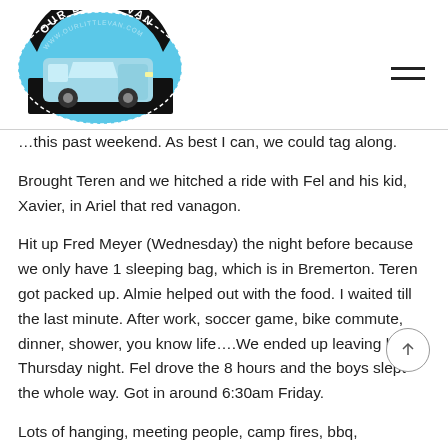[Figure (logo): Our Little Van circular logo with van illustration and www.ourlittlevan.com text]
…this past weekend. As best I can, we could tag along. Brought Teren and we hitched a ride with Fel and his kid, Xavier, in Ariel that red vanagon.
Hit up Fred Meyer (Wednesday) the night before because we only have 1 sleeping bag, which is in Bremerton. Teren got packed up. Almie helped out with the food. I waited till the last minute. After work, soccer game, bike commute, dinner, shower, you know life….We ended up leaving late Thursday night. Fel drove the 8 hours and the boys slept the whole way. Got in around 6:30am Friday.
Lots of hanging, meeting people, camp fires, bbq,